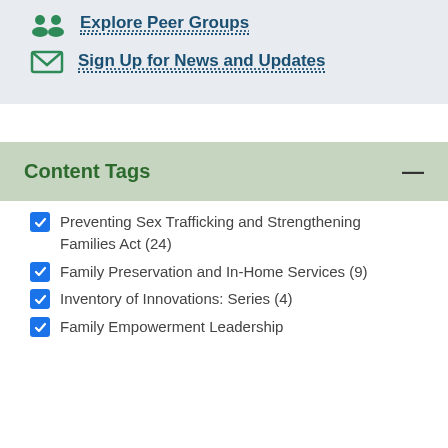Explore Peer Groups
Sign Up for News and Updates
Content Tags
Preventing Sex Trafficking and Strengthening Families Act (24)
Family Preservation and In-Home Services (9)
Inventory of Innovations: Series (4)
Family Empowerment Leadership